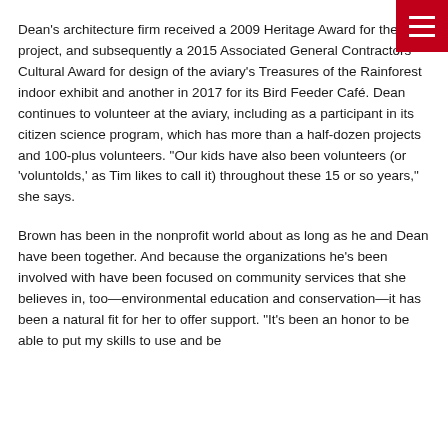Dean's architecture firm received a 2009 Heritage Award for the project, and subsequently a 2015 Associated General Contractors Cultural Award for design of the aviary's Treasures of the Rainforest indoor exhibit and another in 2017 for its Bird Feeder Café. Dean continues to volunteer at the aviary, including as a participant in its citizen science program, which has more than a half-dozen projects and 100-plus volunteers. “Our kids have also been volunteers (or ‘voluntolds,’ as Tim likes to call it) throughout these 15 or so years,” she says.
Brown has been in the nonprofit world about as long as he and Dean have been together. And because the organizations he’s been involved with have been focused on community services that she believes in, too—environmental education and conservation—it has been a natural fit for her to offer support. “It’s been an honor to be able to put my skills to use and be